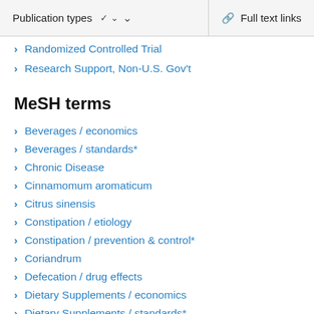Publication types  ∨   Full text links
Randomized Controlled Trial
Research Support, Non-U.S. Gov't
MeSH terms
Beverages / economics
Beverages / standards*
Chronic Disease
Cinnamomum aromaticum
Citrus sinensis
Constipation / etiology
Constipation / prevention & control*
Coriandrum
Defecation / drug effects
Dietary Supplements / economics
Dietary Supplements / standards*
Double-Blind Method